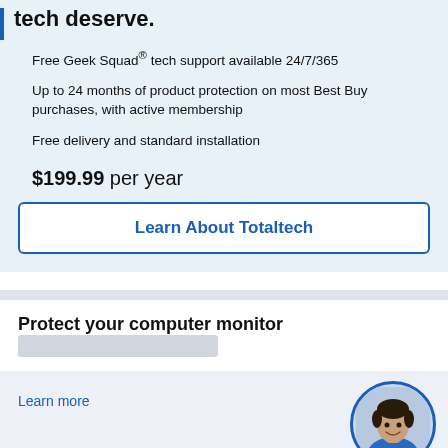tech deserve.
Free Geek Squad® tech support available 24/7/365
Up to 24 months of product protection on most Best Buy purchases, with active membership
Free delivery and standard installation
$199.99 per year
Learn About Totaltech
Protect your computer monitor
[Figure (other): Placeholder gray bar for product image]
[Figure (photo): Circular portrait photo of a young man in a blue shirt, bordered with blue circle]
Learn more